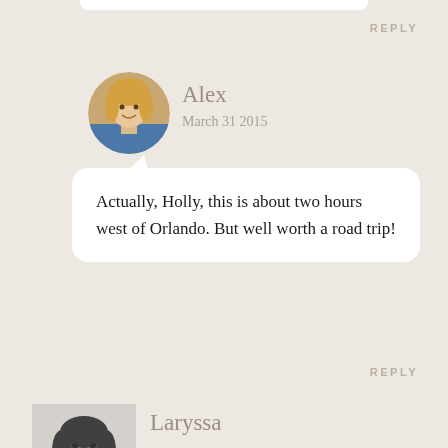REPLY
[Figure (photo): Circular avatar photo of Alex, a blonde woman smiling]
Alex
March 31 2015
Actually, Holly, this is about two hours west of Orlando. But well worth a road trip!
REPLY
[Figure (photo): Square black and white avatar photo of Laryssa, a woman smiling holding something]
Laryssa
March 30 2015
Great photos, as always!

One of my absolute favorite finds